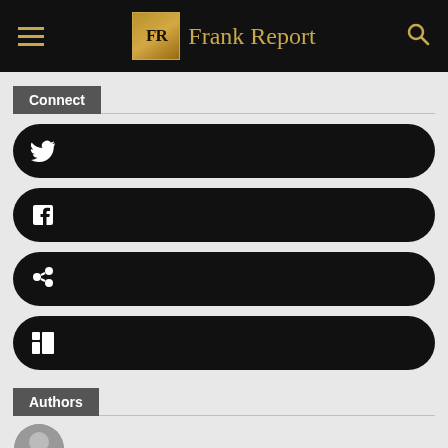Frank Report
Connect
[Figure (illustration): Twitter social media button - black rounded rectangle with white Twitter bird icon]
[Figure (illustration): Facebook social media button - black rounded rectangle with white Facebook 'f' icon]
[Figure (illustration): Link/chain social media button - black rounded rectangle with white chain link icon]
[Figure (illustration): LinkedIn social media button - black rounded rectangle with white LinkedIn 'in' icon]
Authors
[Figure (photo): Circular author avatar - grayscale portrait photo of a woman]
[Figure (logo): Circular avatar - pink decorative pattern/mandala logo]